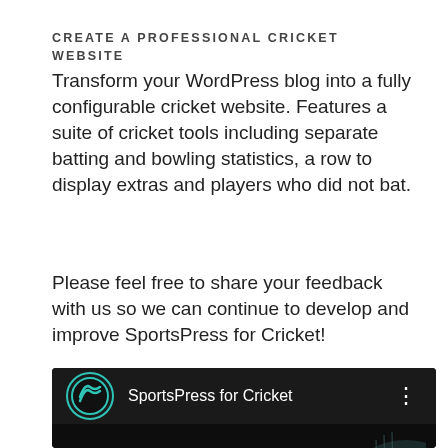CREATE A PROFESSIONAL CRICKET WEBSITE
Transform your WordPress blog into a fully configurable cricket website. Features a suite of cricket tools including separate batting and bowling statistics, a row to display extras and players who did not bat.
Please feel free to share your feedback with us so we can continue to develop and improve SportsPress for Cricket!
[Figure (screenshot): Screenshot of a YouTube-style channel header for 'SportsPress for Cricket' with a teal cricket logo on a dark background, showing the channel name and a three-dot menu icon. Below is a dark video thumbnail area with 'SportsPre' text partially visible at the bottom left and a cricket ball graphic partially visible at the bottom right.]